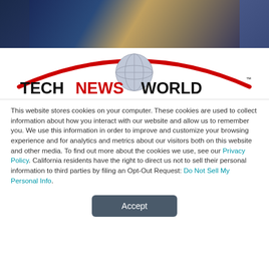[Figure (photo): Top portion of a tech-themed photo showing a person with colorful digital/circuit overlay effects, partially cropped]
[Figure (logo): TechNewsWorld logo with red arc over a globe graphic and bold text TECH in black, NEWS in red, WORLD in black, with TM mark]
This website stores cookies on your computer. These cookies are used to collect information about how you interact with our website and allow us to remember you. We use this information in order to improve and customize your browsing experience and for analytics and metrics about our visitors both on this website and other media. To find out more about the cookies we use, see our Privacy Policy. California residents have the right to direct us not to sell their personal information to third parties by filing an Opt-Out Request: Do Not Sell My Personal Info.
Accept